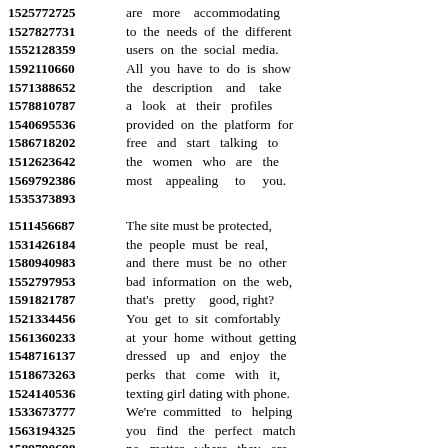1525772725 are more accommodating
1527827731 to the needs of the different
1552128359 users on the social media.
1592110660 All you have to do is show
1571388652 the description and take
1578810787 a look at their profiles
1540695536 provided on the platform for
1586718202 free and start talking to
1512623642 the women who are the
1569792386 most appealing to you.
1535373893
1511456687 The site must be protected,
1531426184 the people must be real,
1580940983 and there must be no other
1552797953 bad information on the web,
1591821787 that's pretty good, right?
1521334456 You get to sit comfortably
1561360233 at your home without getting
1548716137 dressed up and enjoy the
1518673263 perks that come with it,
1524140536 texting girl dating with phone.
1533673777 We're committed to helping
1563194325 you find the perfect match
1589790698 no matter where they are.
1591545718